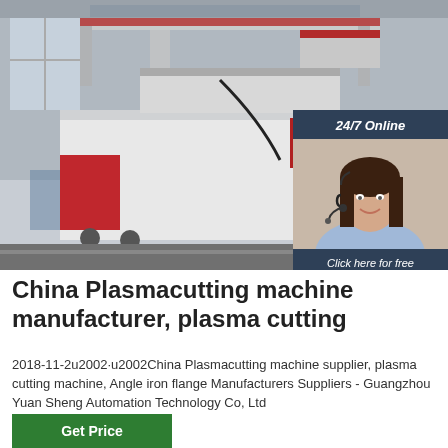[Figure (photo): Industrial plasma cutting machine in a factory setting. Large white and red CNC machine on rails in a warehouse. A chat widget overlay shows a customer service representative with headset, with text '24/7 Online', 'Click here for free chat!', and a QUOTATION button.]
China Plasmacutting machine manufacturer, plasma cutting
2018-11-2u2002·u2002China Plasmacutting machine supplier, plasma cutting machine, Angle iron flange Manufacturers Suppliers - Guangzhou Yuan Sheng Automation Technology Co, Ltd
Get Price